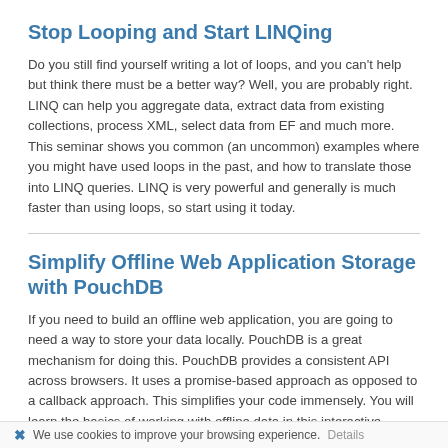Stop Looping and Start LINQing
Do you still find yourself writing a lot of loops, and you can't help but think there must be a better way? Well, you are probably right. LINQ can help you aggregate data, extract data from existing collections, process XML, select data from EF and much more. This seminar shows you common (an uncommon) examples where you might have used loops in the past, and how to translate those into LINQ queries. LINQ is very powerful and generally is much faster than using loops, so start using it today.
Simplify Offline Web Application Storage with PouchDB
If you need to build an offline web application, you are going to need a way to store your data locally. PouchDB is a great mechanism for doing this. PouchDB provides a consistent API across browsers. It uses a promise-based approach as opposed to a callback approach. This simplifies your code immensely. You will learn the basics of working with offline data in this interactive seminar.
We use cookies to improve your browsing experience. Details